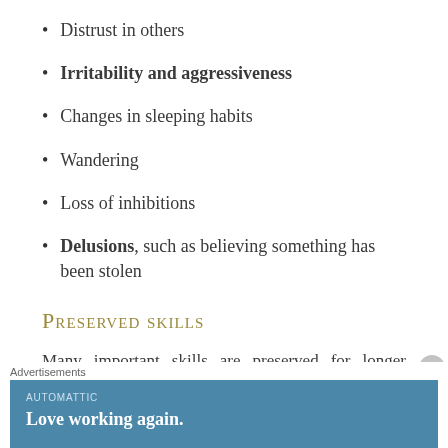Distrust in others
Irritability and aggressiveness
Changes in sleeping habits
Wandering
Loss of inhibitions
Delusions, such as believing something has been stolen
Preserved skills
Many important skills are preserved for longer periods even while symptoms worsen. Preserved skills may
Advertisements
AUTOMATTIC
Love working again.